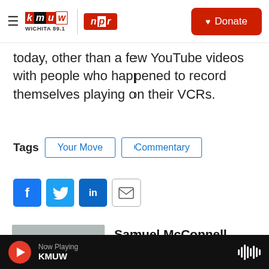KMUW Wichita 89.1 | NPR | Donate
today, other than a few YouTube videos with people who happened to record themselves playing on their VCRs.
Tags  Your Move  Commentary
[Figure (other): Social share buttons: Facebook, Twitter, LinkedIn, Email]
[Figure (photo): Headshot photo of Samuel McConnell]
Samuel McConnell
Samuel McConnell is a games enthusiast who has been playing games in one form
Now Playing KMUW